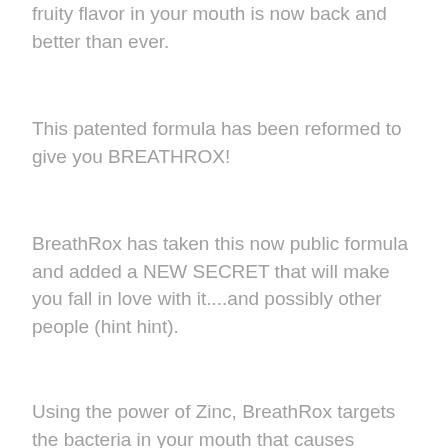fruity flavor in your mouth is now back and better than ever.
This patented formula has been reformed to give you BREATHROX!
BreathRox has taken this now public formula and added a NEW SECRET that will make you fall in love with it....and possibly other people (hint hint).
Using the power of Zinc, BreathRox targets the bacteria in your mouth that causes